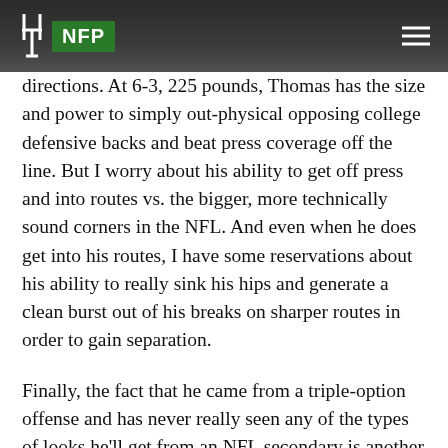NFP
directions. At 6-3, 225 pounds, Thomas has the size and power to simply out-physical opposing college defensive backs and beat press coverage off the line. But I worry about his ability to get off press and into routes vs. the bigger, more technically sound corners in the NFL. And even when he does get into his routes, I have some reservations about his ability to really sink his hips and generate a clean burst out of his breaks on sharper routes in order to gain separation.
Finally, the fact that he came from a triple-option offense and has never really seen any of the types of looks he'll get from an NFL secondary is another concern I have, as Thomas was consistently asked to only beat man coverage on the outside with little to no help over the top. So he had plenty of room to operate down the field, didn't have to be detail oriented with his routes and really never had to think about a safety making a play on the football. This might seem minor, but it's just one more facet of the game in